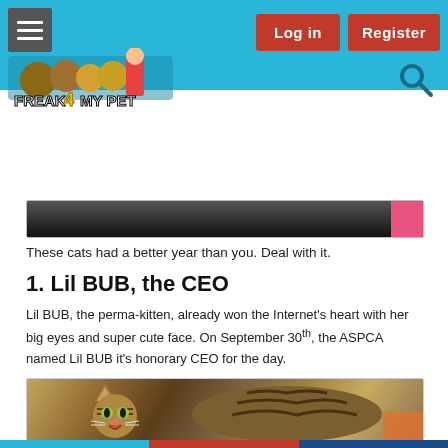Freak 4 My Pet — Log in | Register
[Figure (photo): Partial view of a cat photo strip at the top of the content area, dark background]
These cats had a better year than you. Deal with it.
1. Lil BUB, the CEO
Lil BUB, the perma-kitten, already won the Internet's heart with her big eyes and super cute face. On September 30th, the ASPCA named Lil BUB it's honorary CEO for the day.
[Figure (photo): Photo of Lil BUB the cat, a tabby cat with big eyes and open mouth looking at the camera]